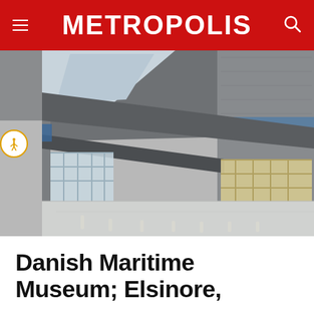METROPOLIS
[Figure (photo): Exterior courtyard view of the Danish Maritime Museum in Elsinore, showing dramatic angular concrete bridges and walkways crossing over an open dock, with glass facades of the underground museum visible, bollards on a white ground surface, and blue-lit concrete walls.]
Danish Maritime Museum; Elsinore,